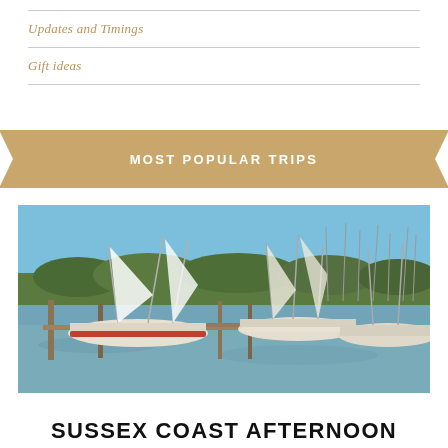Updates and Timings
Gift ideas
MOST POPULAR TRIPS
[Figure (photo): A marina with sailboats moored at docks on calm water, with green trees in the background under a clear blue sky.]
SUSSEX COAST AFTERNOON